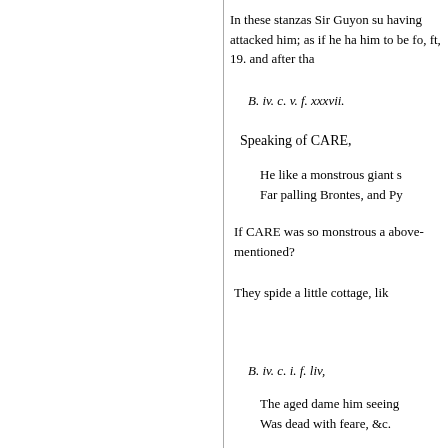In these stanzas Sir Guyon su having attacked him; as if he ha him to be fo, ft, 19. and after tha
B. iv. c. v. f. xxxvii.
Speaking of CARE,
He like a monstrous giant s Far palling Brontes, and Py
If CARE was so monstrous a above-mentioned?
They spide a little cottage, lik
B. iv. c. i. f. liv,
The aged dame him seeing Was dead with feare, &c.